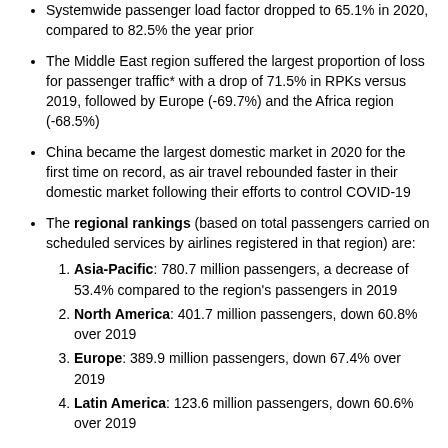Systemwide passenger load factor dropped to 65.1% in 2020, compared to 82.5% the year prior
The Middle East region suffered the largest proportion of loss for passenger traffic* with a drop of 71.5% in RPKs versus 2019, followed by Europe (-69.7%) and the Africa region (-68.5%)
China became the largest domestic market in 2020 for the first time on record, as air travel rebounded faster in their domestic market following their efforts to control COVID-19
The regional rankings (based on total passengers carried on scheduled services by airlines registered in that region) are: 1. Asia-Pacific: 780.7 million passengers, a decrease of 53.4% compared to the region's passengers in 2019 2. North America: 401.7 million passengers, down 60.8% over 2019 3. Europe: 389.9 million passengers, down 67.4% over 2019 4. Latin America: 123.6 million passengers, down 60.6% over 2019